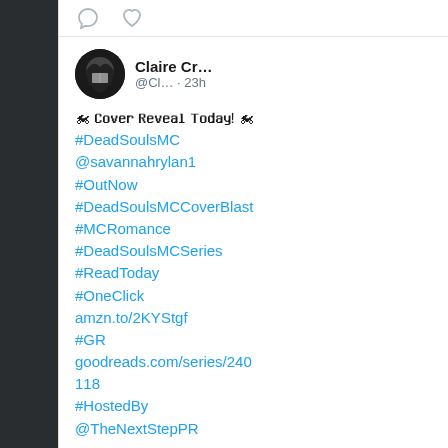[Figure (screenshot): Dark background with tree branches silhouette]
[Figure (screenshot): Twitter tweet card with top icon bar showing comment and heart icons]
Claire Cr... @Cl... · 23h
🏍 [squiggly text] [squiggly text] [squiggly text]! 🏍
#DeadSoulsMC
@savannahrylan1
#OutNow
#DeadSoulsMCCoverBlast
#MCRomance
#DeadSoulsMCSeries
#ReadToday
#OneClick
amzn.to/2KYStgf
#GR
goodreads.com/series/240118
#HostedBy
@TheNextStepPR
[Figure (photo): Row of book covers at the bottom: KNOX and GRAVE visible]